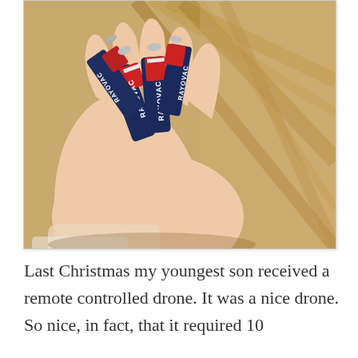[Figure (photo): A hand holding several Rayovac AA batteries against a wooden surface background.]
Last Christmas my youngest son received a remote controlled drone. It was a nice drone. So nice, in fact, that it required 10